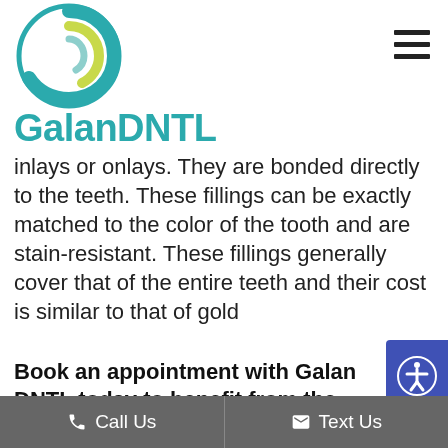[Figure (logo): Galan DNTL dental clinic logo with teal swirl circle icon and teal brand name text]
inlays or onlays. They are bonded directly to the teeth. These fillings can be exactly matched to the color of the tooth and are stain-resistant. These fillings generally cover that of the entire teeth and their cost is similar to that of gold
Book an appointment with Galan DNTL today to benefit from the new laser technology Galan in order to get your dental
Call Us   Text Us